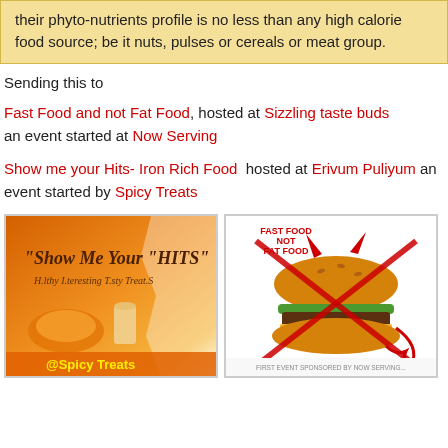their phyto-nutrients profile is no less than any high calorie food source; be it nuts, pulses or cereals or meat group.
Sending this to
Fast Food and not Fat Food, hosted at Sizzling taste buds an event started at Now Serving
Show me your Hits- Iron Rich Food  hosted at Erivum Puliyum an event started by Spicy Treats
[Figure (illustration): Orange banner image with text 'Show Me Your HITS - Healthy Interesting Tasty TreatS' with food and @Spicy Treats branding]
[Figure (illustration): Image of a hamburger with devil horns and red X crossed over it, text FAST FOOD NOT FAT FOOD, sponsored by NOW SERVING]